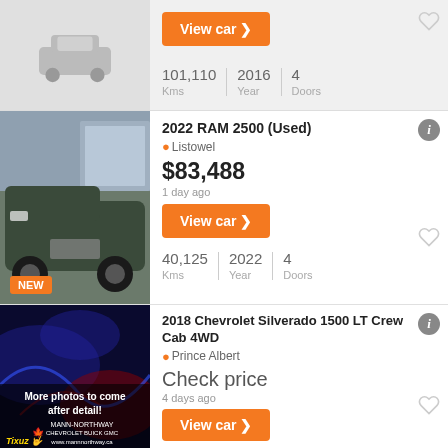101,110 Kms | 2016 Year | 4 Doors
[Figure (screenshot): Partial top listing with placeholder car icon, View car button, and specs: 101,110 Kms, 2016 Year, 4 Doors]
2022 RAM 2500 (Used)
Listowel
$83,488
1 day ago
View car
40,125 Kms | 2022 Year | 4 Doors
[Figure (photo): 2022 RAM 2500 truck parked outside a dealership in snowy conditions, with NEW badge]
2018 Chevrolet Silverado 1500 LT Crew Cab 4WD
Prince Albert
Check price
4 days ago
View car
59,561 Kms | 2018 Year
[Figure (photo): Dealership promotional image with text 'More photos to come after detail!' and Mann-Northway Chevrolet Buick GMC logo, Tixuz watermark]